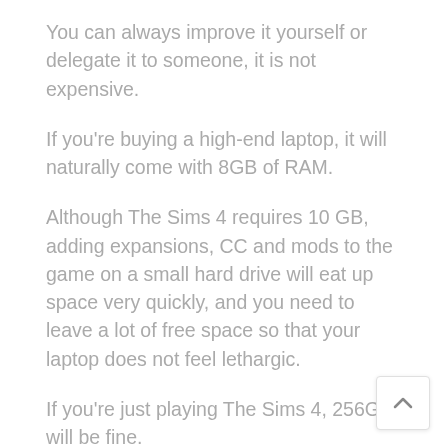You can always improve it yourself or delegate it to someone, it is not expensive.
If you're buying a high-end laptop, it will naturally come with 8GB of RAM.
Although The Sims 4 requires 10 GB, adding expansions, CC and mods to the game on a small hard drive will eat up space very quickly, and you need to leave a lot of free space so that your laptop does not feel lethargic.
If you're just playing The Sims 4, 256GB will be fine.
If you plan on playing other games, get a hard drive with +256 GB of memory. +512 GB is best, as other games are approximately 50 GB.